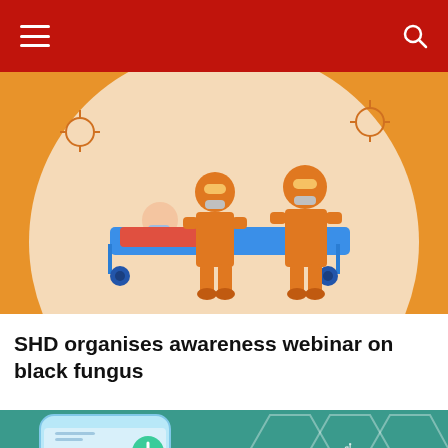[Figure (illustration): Medical illustration showing two healthcare workers in orange hazmat suits transporting a patient on a blue stretcher, with a cream/beige circular background and orange outer background with virus particles.]
SHD organises awareness webinar on black fungus
[Figure (illustration): Medical telemedicine illustration showing a female doctor in white coat on a smartphone screen with a teal hexagonal medical icons background featuring DNA, shield with cross, pills, droplet, heart monitor and stethoscope icons.]